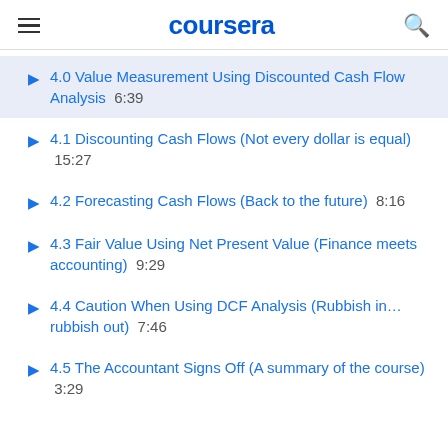coursera
4.0 Value Measurement Using Discounted Cash Flow Analysis 6:39
4.1 Discounting Cash Flows (Not every dollar is equal) 15:27
4.2 Forecasting Cash Flows (Back to the future) 8:16
4.3 Fair Value Using Net Present Value (Finance meets accounting) 9:29
4.4 Caution When Using DCF Analysis (Rubbish in… rubbish out) 7:46
4.5 The Accountant Signs Off (A summary of the course) 3:29